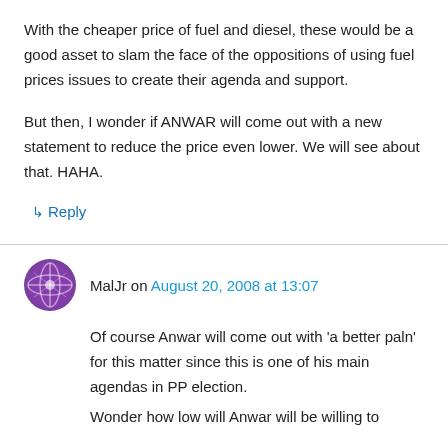With the cheaper price of fuel and diesel, these would be a good asset to slam the face of the oppositions of using fuel prices issues to create their agenda and support.
But then, I wonder if ANWAR will come out with a new statement to reduce the price even lower. We will see about that. HAHA.
↳ Reply
MalJr on August 20, 2008 at 13:07
Of course Anwar will come out with 'a better paln' for this matter since this is one of his main agendas in PP election.
Wonder how low will Anwar will be willing to